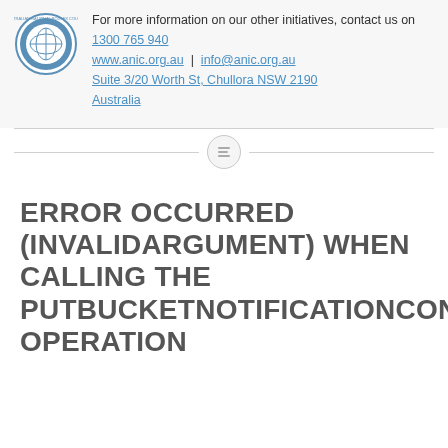[Figure (logo): Circular logo with text around the border, blue and white design]
For more information on our other initiatives, contact us on
1300 765 940
www.anic.org.au  |  info@anic.org.au
Suite 3/20 Worth St, Chullora NSW 2190
Australia
ERROR OCCURRED (INVALIDARGUMENT) WHEN CALLING THE PUTBUCKETNOTIFICATIONCONFIGURA OPERATION